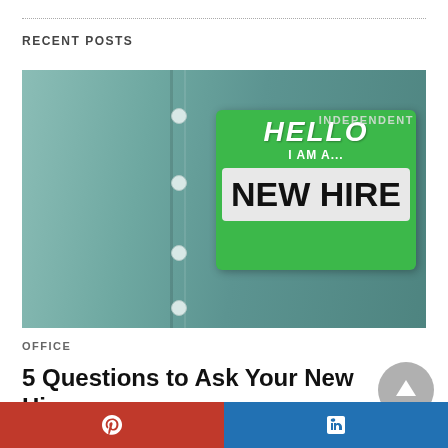RECENT POSTS
[Figure (photo): Close-up of a teal/green shirt with a name tag sticker that reads 'HELLO I AM A... NEW HIRE' with 'INDEPENDENT' overlaid, resembling a Hello My Name Is badge.]
OFFICE
5 Questions to Ask Your New Hire
Companies pay a lot of money to recruit and hire new employees,